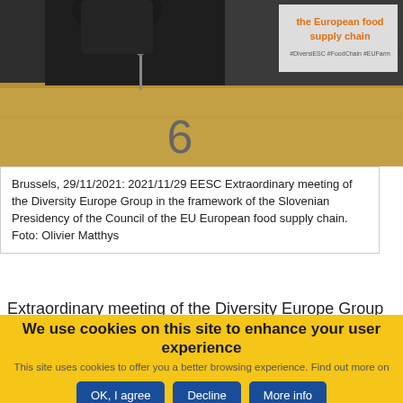[Figure (photo): Photo of a conference room setting with a delegate at desk number 6, a banner in the background reading 'the European food supply chain' in orange text on white background.]
Brussels, 29/11/2021: 2021/11/29 EESC Extraordinary meeting of the Diversity Europe Group in the framework of the Slovenian Presidency of the Council of the EU European food supply chain. Foto: Olivier Matthys
Extraordinary meeting of the Diversity Europe Group in
We use cookies on this site to enhance your user experience
This site uses cookies to offer you a better browsing experience. Find out more on  how we use cookies and how you can change your settings .
OK, I agree   Decline   More info